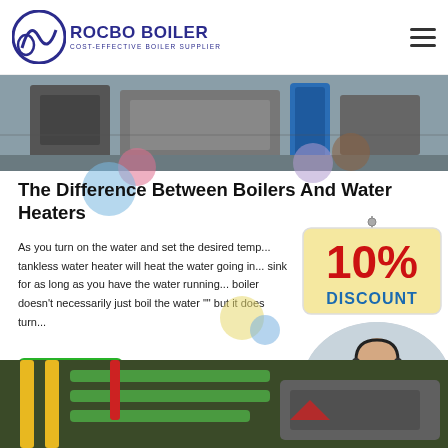ROCBO BOILER - COST-EFFECTIVE BOILER SUPPLIER
[Figure (photo): Industrial boiler equipment photo strip at top of page]
The Difference Between Boilers And Water Heaters
[Figure (infographic): 10% DISCOUNT promotional badge/sign]
As you turn on the water and set the desired temp... tankless water heater will heat the water going in... sink for as long as you have the water running... boiler doesn't necessarily just boil the water "" but it does turn...
[Figure (photo): Customer service representative wearing headset, smiling]
[Figure (photo): Industrial boiler pipes and equipment photo at bottom of page]